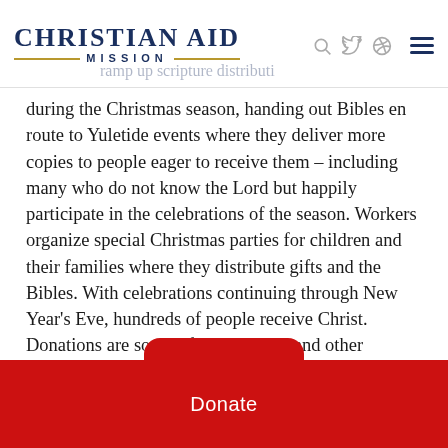Christian Aid Mission
during the Christmas season, handing out Bibles en route to Yuletide events where they deliver more copies to people eager to receive them – including many who do not know the Lord but happily participate in the celebrations of the season. Workers organize special Christmas parties for children and their families where they distribute gifts and the Bibles. With celebrations continuing through New Year's Eve, hundreds of people receive Christ. Donations are sought for Christmas and other outreaches. Pray that local missionaries will be able to work around pandemic restrictions.
Donate